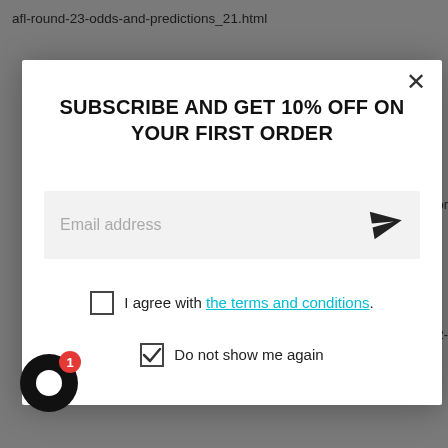afl-round-23-odds-and-predictions_21.html
[Figure (screenshot): Modal popup dialog with white background. Contains title 'SUBSCRIBE AND GET 10% OFF ON YOUR FIRST ORDER', an email address input field with a send (paper plane) icon, an unchecked checkbox with 'I agree with the terms and conditions.', and a checked checkbox with 'Do not show me again'. A close (X) button is in the top right corner.]
http://www.cloud-campaign.com/Redirect.aspx?companyid=15&scenarioid=4523&type=click&recordid=81a4f11a4a83-8310-f12db7ce8&&url=https://sportsbetting010.blogspot.com/afl-round-23-odds-and-predictions_21.html
http://congovibes.com/index.php?